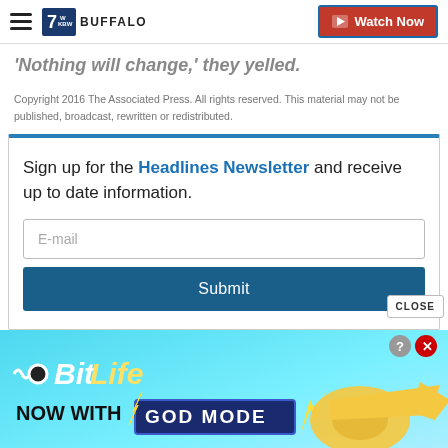7 WKBW Buffalo — Watch Now
'Nothing will change,' they yelled.
Copyright 2016 The Associated Press. All rights reserved. This material may not be published, broadcast, rewritten or redistributed.
Sign up for the Headlines Newsletter and receive up to date information.
[Figure (screenshot): E-mail input field placeholder]
[Figure (screenshot): Submit button]
[Figure (screenshot): BitLife — Now with GOD MODE advertisement banner at bottom of page]